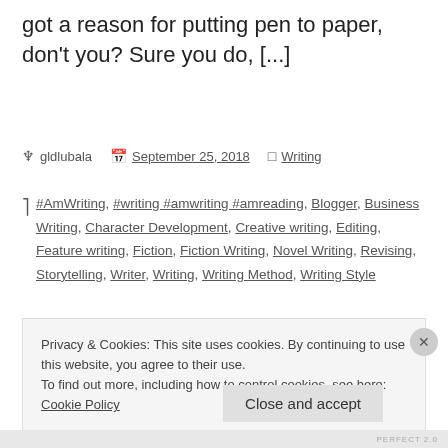got a reason for putting pen to paper, don't you? Sure you do, [...]
gldlubala   September 25, 2018   Writing
#AmWriting, #writing #amwriting #amreading, Blogger, Business Writing, Character Development, Creative writing, Editing, Feature writing, Fiction, Fiction Writing, Novel Writing, Revising, Storytelling, Writer, Writing, Writing Method, Writing Style
Privacy & Cookies: This site uses cookies. By continuing to use this website, you agree to their use. To find out more, including how to control cookies, see here: Cookie Policy
Close and accept